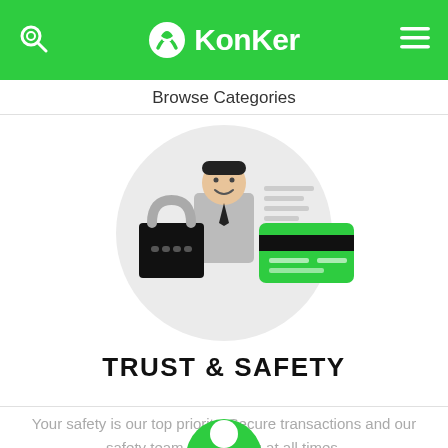KonKer
Browse Categories
[Figure (illustration): Trust and safety illustration showing a person with a padlock and a green credit card on a light grey circular background]
TRUST & SAFETY
Your safety is our top priority. Secure transactions and our safety team protect you at all times.
[Figure (illustration): Bottom peek of another circular illustration partially visible at the bottom of the page]